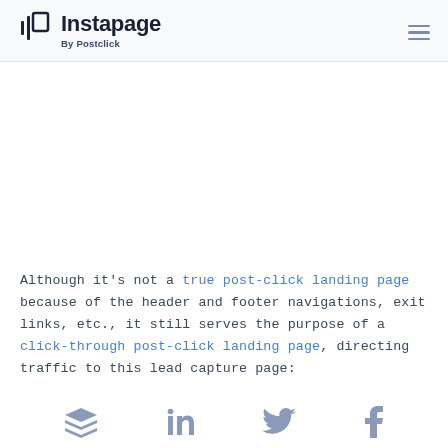Instapage By Postclick
Although it's not a true post-click landing page because of the header and footer navigations, exit links, etc., it still serves the purpose of a click-through post-click landing page, directing traffic to this lead capture page:
[Figure (other): Social sharing icons: Buffer (layers), LinkedIn, Twitter, Facebook]